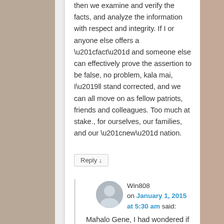then we examine and verify the facts, and analyze the information with respect and integrity. If I or anyone else offers a “fact” and someone else can effectively prove the assertion to be false, no problem, kala mai, I’ll stand corrected, and we can all move on as fellow patriots, friends and colleagues. Too much at stake., for ourselves, our families, and our “new” nation.
Reply ↓
Win808 on January 1, 2015 at 5:30 am said:
Mahalo Gene, I had wondered if the money